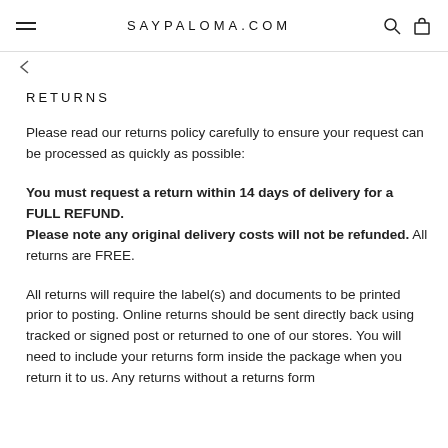SAYPALOMA.COM
RETURNS
Please read our returns policy carefully to ensure your request can be processed as quickly as possible:
You must request a return within 14 days of delivery for a FULL REFUND. Please note any original delivery costs will not be refunded. All returns are FREE.
All returns will require the label(s) and documents to be printed prior to posting. Online returns should be sent directly back using tracked or signed post or returned to one of our stores. You will need to include your returns form inside the package when you return it to us. Any returns without a returns form